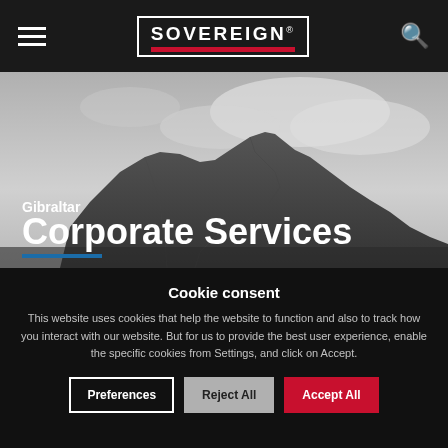Sovereign (logo) — navigation bar with hamburger menu and search icon
[Figure (photo): Black and white photograph of the Rock of Gibraltar with dramatic cloudy sky. Overlaid text reads 'Gibraltar' and 'Corporate Services' with a blue underline bar.]
Gibraltar
Corporate Services
Cookie consent
This website uses cookies that help the website to function and also to track how you interact with our website. But for us to provide the best user experience, enable the specific cookies from Settings, and click on Accept.
Preferences | Reject All | Accept All